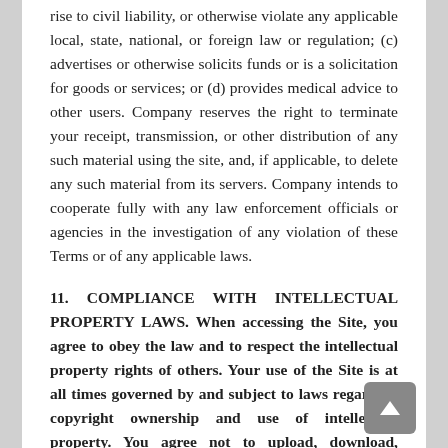rise to civil liability, or otherwise violate any applicable local, state, national, or foreign law or regulation; (c) advertises or otherwise solicits funds or is a solicitation for goods or services; or (d) provides medical advice to other users. Company reserves the right to terminate your receipt, transmission, or other distribution of any such material using the site, and, if applicable, to delete any such material from its servers. Company intends to cooperate fully with any law enforcement officials or agencies in the investigation of any violation of these Terms or of any applicable laws.
11. COMPLIANCE WITH INTELLECTUAL PROPERTY LAWS.
When accessing the Site, you agree to obey the law and to respect the intellectual property rights of others. Your use of the Site is at all times governed by and subject to laws regarding copyright ownership and use of intellectual property. You agree not to upload, download, display, perform, transmit, or otherwise distribute any information or content (collectively, “Content”) in violation of any third party’s copyrights, trademarks, or other intellectual property or proprietary rights. You agree to abide by laws regarding copyright